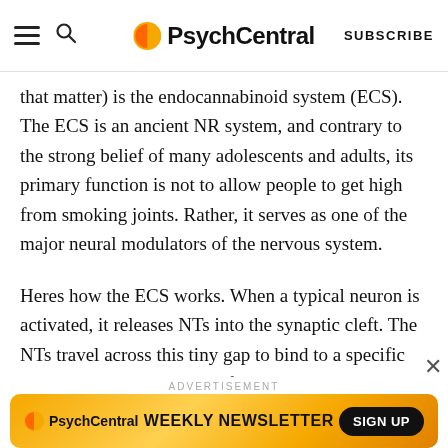PsychCentral — SUBSCRIBE
that matter) is the endocannabinoid system (ECS). The ECS is an ancient NR system, and contrary to the strong belief of many adolescents and adults, its primary function is not to allow people to get high from smoking joints. Rather, it serves as one of the major neural modulators of the nervous system.
Heres how the ECS works. When a typical neuron is activated, it releases NTs into the synaptic cleft. The NTs travel across this tiny gap to bind to a specific receptor on the other side of the synapse. The binding then causes a chemical and electrical process that depolarizes the next neuron, creating an action
[Figure (other): PsychCentral advertisement banner for Weekly Newsletter with SIGN UP button, orange/yellow gradient background]